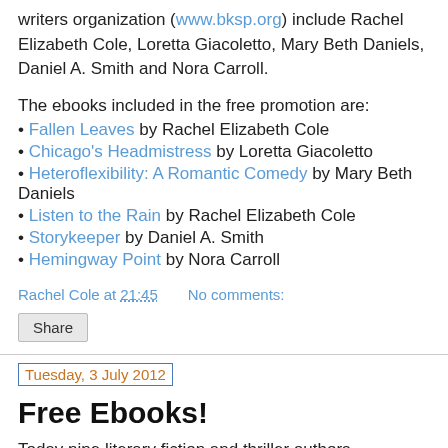writers organization (www.bksp.org) include Rachel Elizabeth Cole, Loretta Giacoletto, Mary Beth Daniels, Daniel A. Smith and Nora Carroll.
The ebooks included in the free promotion are:
Fallen Leaves by Rachel Elizabeth Cole
Chicago's Headmistress by Loretta Giacoletto
Heteroflexibility: A Romantic Comedy by Mary Beth Daniels
Listen to the Rain by Rachel Elizabeth Cole
Storykeeper by Daniel A. Smith
Hemingway Point by Nora Carroll
Rachel Cole at 21:45    No comments:
Share
Tuesday, 3 July 2012
Free Ebooks!
Today nine literary fiction and thriller authors announced that they will be offering their ebooks free on Amazon.com